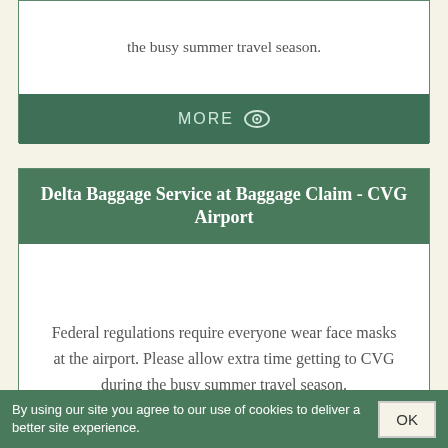the busy summer travel season.
MORE
Delta Baggage Service at Baggage Claim - CVG Airport
Federal regulations require everyone wear face masks at the airport. Please allow extra time getting to CVG during the busy summer travel season.
MORE
Flight Status | Frontier Airlines
By using our site you agree to our use of cookies to deliver a better site experience.